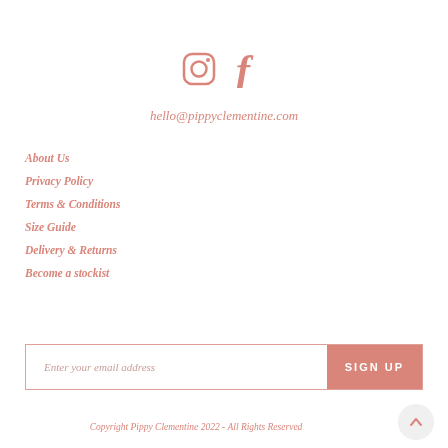[Figure (other): Instagram and Facebook social media icons in pink/rose color]
hello@pippyclementine.com
About Us
Privacy Policy
Terms & Conditions
Size Guide
Delivery & Returns
Become a stockist
Enter your email address   SIGN UP
Copyright Pippy Clementine 2022 - All Rights Reserved